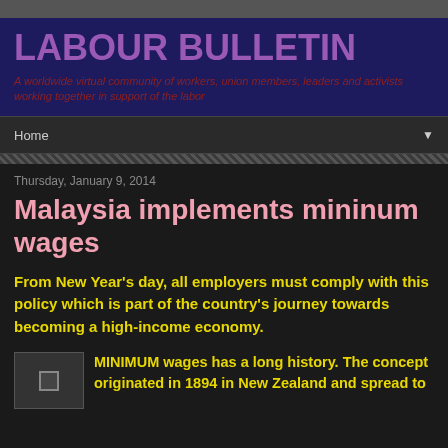LABOUR BULLETIN
A worldwide virtual community of workers, union members, leaders and activists working together in support of the labor
Home
Thursday, January 9, 2014
Malaysia implements mininum wages
From New Year’s day, all employers must comply with this policy which is part of the country’s journey towards becoming a high-income economy.
MINIMUM wages has a long history. The concept originated in 1894 in New Zealand and spread to